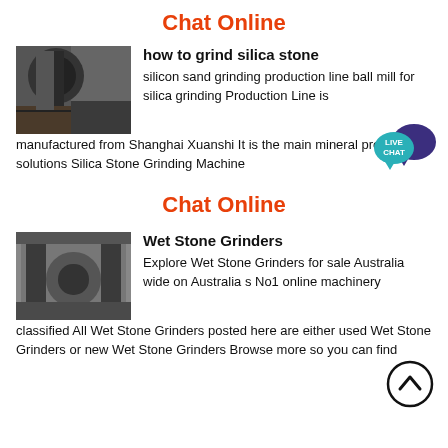Chat Online
[Figure (photo): Industrial grinding machine with large rollers]
how to grind silica stone
silicon sand grinding production line ball mill for silica grinding Production Line is manufactured from Shanghai Xuanshi It is the main mineral processing solutions Silica Stone Grinding Machine
[Figure (illustration): Live Chat speech bubble icon in teal and dark purple]
Chat Online
[Figure (photo): Industrial wet stone grinder machinery]
Wet Stone Grinders
Explore Wet Stone Grinders for sale Australia wide on Australias No1 online machinery classified All Wet Stone Grinders posted here are either used Wet Stone Grinders or new Wet Stone Grinders Browse more so you can find
[Figure (illustration): Up arrow circle icon]